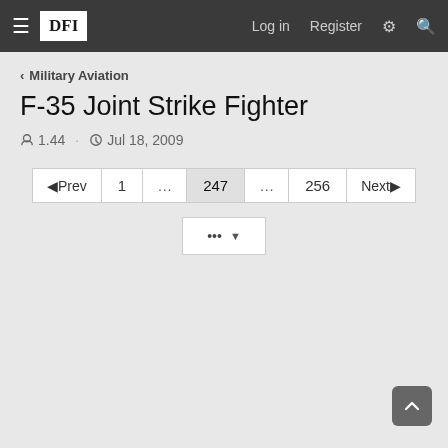≡ DFI   Log in   Register
< Military Aviation
F-35 Joint Strike Fighter
1.44 · Jul 18, 2009
◄Prev  1  ...  247  ...  256  Next►
... ▼